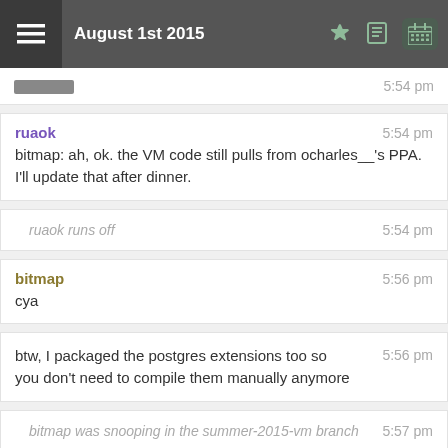August 1st 2015
5:54 pm
ruaok  5:54 pm
bitmap: ah, ok. the VM code still pulls from ocharles__'s PPA. I'll update that after dinner.
ruaok runs off  5:54 pm
bitmap  5:56 pm
cya
btw, I packaged the postgres extensions too so you don't need to compile them manually anymore  5:56 pm
bitmap was snooping in the summer-2015-vm branch  5:57 pm